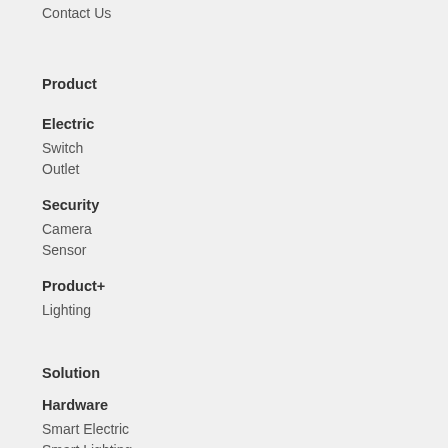Contact Us
Product
Electric
Switch
Outlet
Security
Camera
Sensor
Product+
Lighting
Solution
Hardware
Smart Electric
Smart Lighting